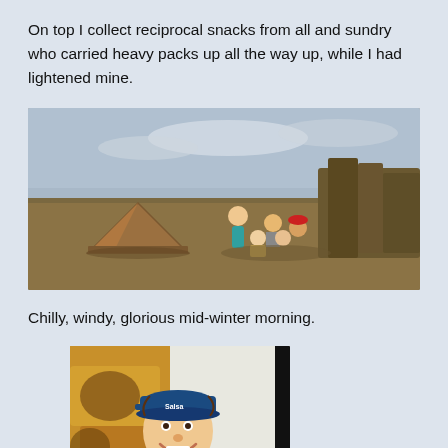On top I collect reciprocal snacks from all and sundry who carried heavy packs up all the way up, while I had lightened mine.
[Figure (photo): Group of people sitting and gathering on rocky hillside terrain with a brown tent on the left and steep cliff formations in the background, mid-winter outdoor camping scene.]
Chilly, windy, glorious mid-winter morning.
[Figure (photo): Close-up of a smiling person wearing a blue cap with 'Salsa' logo, standing in front of golden-coloured rocky cliff formations.]